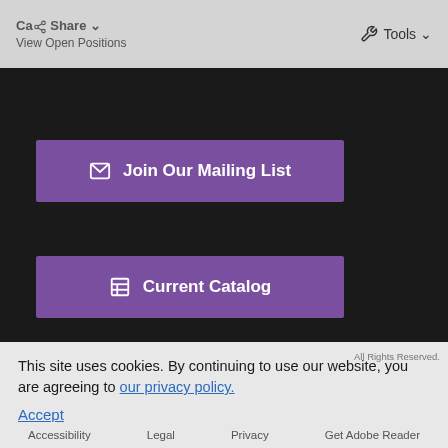Ca... Share  Tools
View Open Positions
Join Our Mailing List
Current Catalog
Connect
[Figure (other): Social media icons: Facebook, Twitter, YouTube, Pinterest, Instagram]
[Figure (logo): Duke University Press logo]
This site uses cookies. By continuing to use our website, you are agreeing to our privacy policy.
Accept
Accessibility   Legal   Privacy   Get Adobe Reader